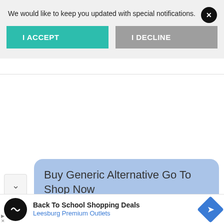We would like to keep you updated with special notifications.
[Figure (screenshot): I ACCEPT button (teal) and I DECLINE button (gray) in a notification permission dialog]
Buy Generic Alternative Go To Shop Now
Back To School Shopping Deals
Leesburg Premium Outlets